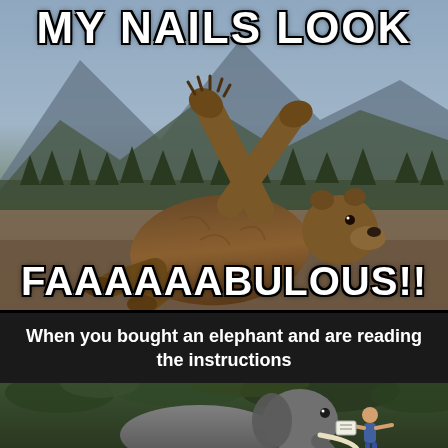[Figure (photo): Meme: A bear lying on its back outdoors with paws raised in the air, posing dramatically. Mountain and forest background. Top text: 'MY NAILS LOOK', bottom text: 'FAAAAAABULOUS!!']
[Figure (photo): Meme: Black text bar reading 'When you bought an elephant and are reading the instructions' above a photo of an elephant with a small person near it in a jungle/forest setting.]